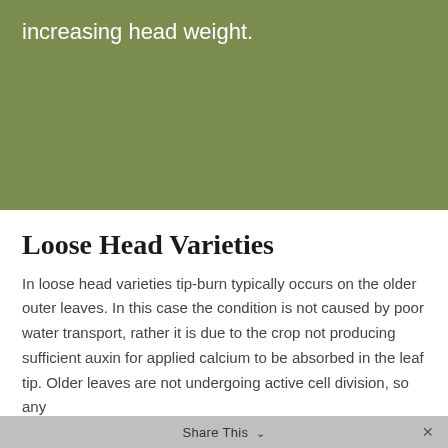increasing head weight.
Loose Head Varieties
In loose head varieties tip-burn typically occurs on the older outer leaves. In this case the condition is not caused by poor water transport, rather it is due to the crop not producing sufficient auxin for applied calcium to be absorbed in the leaf tip. Older leaves are not undergoing active cell division, so any foliage calcium applied to older leaves at any time will
Share This